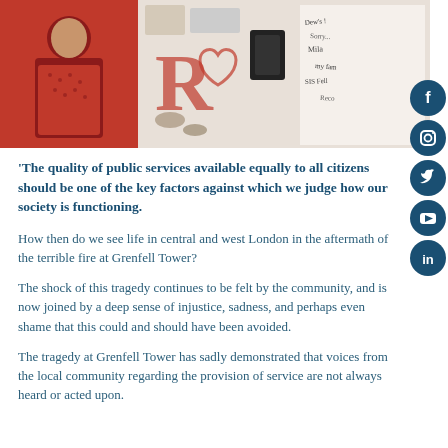[Figure (photo): Composite photo: left side shows a woman in a red patterned shirt, right side shows memorial wall with handwritten messages and red painted letters, flowers and tributes.]
'The quality of public services available equally to all citizens should be one of the key factors against which we judge how our society is functioning.
How then do we see life in central and west London in the aftermath of the terrible fire at Grenfell Tower?
The shock of this tragedy continues to be felt by the community, and is now joined by a deep sense of injustice, sadness, and perhaps even shame that this could and should have been avoided.
The tragedy at Grenfell Tower has sadly demonstrated that voices from the local community regarding the provision of service are not always heard or acted upon.